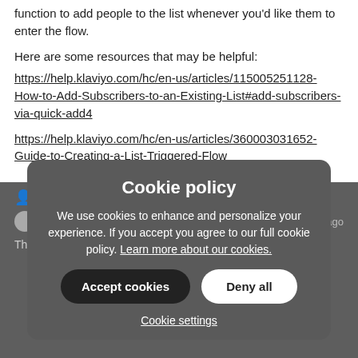function to add people to the list whenever you'd like them to enter the flow.
Here are some resources that may be helpful:
https://help.klaviyo.com/hc/en-us/articles/115005251128-How-to-Add-Subscribers-to-an-Existing-List#add-subscribers-via-quick-add4
https://help.klaviyo.com/hc/en-us/articles/360003031652-Guide-to-Creating-a-List-Triggered-Flow
[Figure (screenshot): Cookie policy modal overlay on a dark background showing website content. The modal has title 'Cookie policy', body text 'We use cookies to enhance and personalize your experience. If you accept you agree to our full cookie policy. Learn more about our cookies.', two buttons: 'Accept cookies' (dark) and 'Deny all' (white), and a 'Cookie settings' link. Behind the modal, partially visible page content including user avatar icons, username 'MVila', timestamp '1 year ago', text 'These are the a... ht works.' and a list item '1. make a segment b... field in klaviyo, maybe promotion'.]